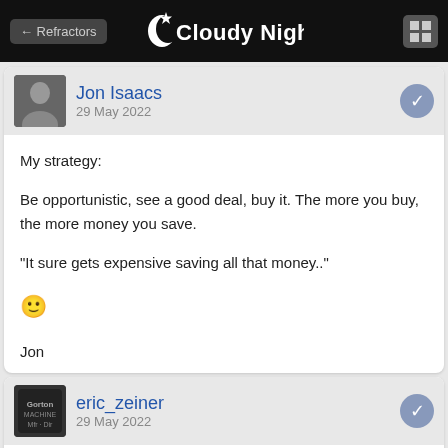← Refractors   Cloudy Nights
Jon Isaacs
29 May 2022
My strategy:

Be opportunistic, see a good deal, buy it. The more you buy, the more money you save.

"It sure gets expensive saving all that money.."

😊

Jon
eric_zeiner
29 May 2022
Jon Isaacs, on 29 May 2022 - 7:57 PM, said:

My strategy: